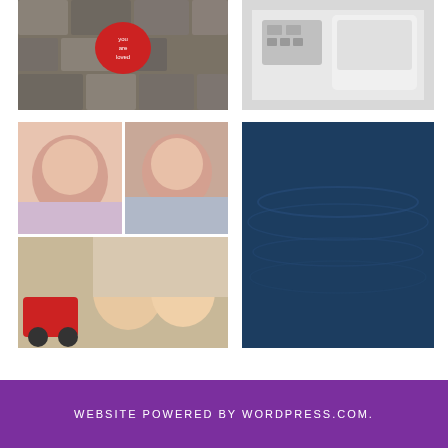[Figure (photo): Photo of a red heart-shaped object with text 'you are loved' on cobblestone pavement]
[Figure (photo): Photo of medical/hospital equipment, appears to be a NICU incubator or medical device]
[Figure (photo): Collage of four photos: two newborn baby photos on top, two girls smiling selfie on bottom, with a red toy truck]
[Figure (photo): Dark blue water background with motivational text 'JUST KEEP Swimming...' and sailboat icon, tagline 'Clean Living with the Croziers']
WEBSITE POWERED BY WORDPRESS.COM.